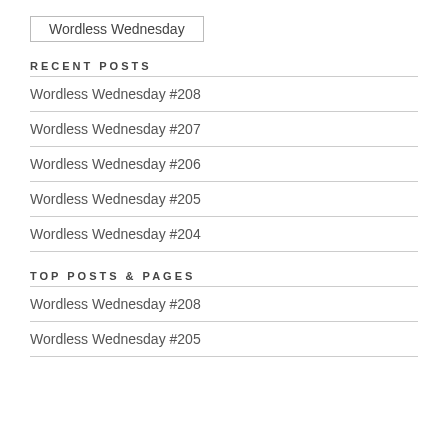Wordless Wednesday
RECENT POSTS
Wordless Wednesday #208
Wordless Wednesday #207
Wordless Wednesday #206
Wordless Wednesday #205
Wordless Wednesday #204
TOP POSTS & PAGES
Wordless Wednesday #208
Wordless Wednesday #205